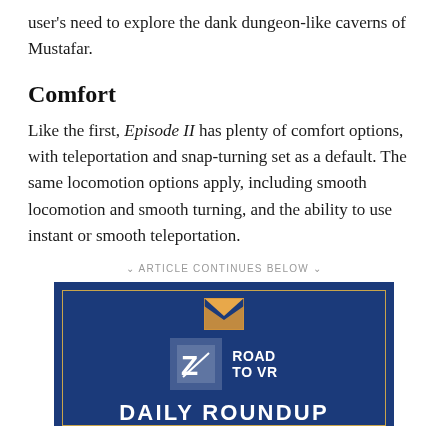user's need to explore the dank dungeon-like caverns of Mustafar.
Comfort
Like the first, Episode II has plenty of comfort options, with teleportation and snap-turning set as a default. The same locomotion options apply, including smooth locomotion and smooth turning, and the ability to use instant or smooth teleportation.
∨ ARTICLE CONTINUES BELOW ∨
[Figure (logo): Road to VR Daily Roundup advertisement banner with envelope icon and logo on dark blue background]